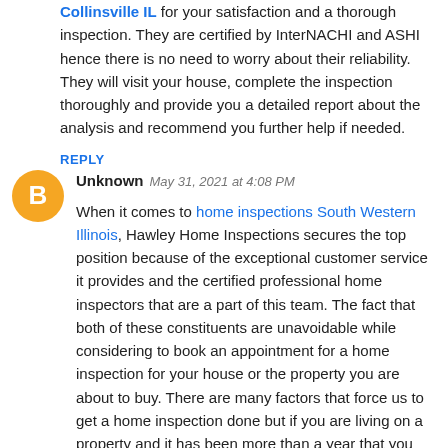Collinsville IL for your satisfaction and a thorough inspection. They are certified by InterNACHI and ASHI hence there is no need to worry about their reliability. They will visit your house, complete the inspection thoroughly and provide you a detailed report about the analysis and recommend you further help if needed.
REPLY
[Figure (illustration): Orange circle avatar with white blogger 'B' icon]
Unknown  May 31, 2021 at 4:08 PM
When it comes to home inspections South Western Illinois, Hawley Home Inspections secures the top position because of the exceptional customer service it provides and the certified professional home inspectors that are a part of this team. The fact that both of these constituents are unavoidable while considering to book an appointment for a home inspection for your house or the property you are about to buy. There are many factors that force us to get a home inspection done but if you are living on a property and it has been more than a year that you got your house inspected, this is the right time. If the situation